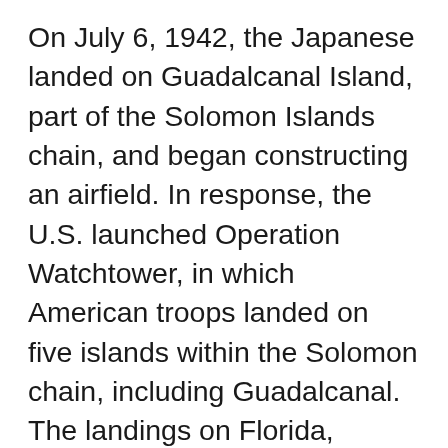On July 6, 1942, the Japanese landed on Guadalcanal Island, part of the Solomon Islands chain, and began constructing an airfield. In response, the U.S. launched Operation Watchtower, in which American troops landed on five islands within the Solomon chain, including Guadalcanal. The landings on Florida, Tulagi, Gavutu, and Tananbogo met with much initial opposition from the Japanese defenders, despite the fact that the landings took the Japanese by surprise because bad weather had grounded their scouting aircraft. “I have never heard or read of this kind of fighting,” wrote one American major general on the